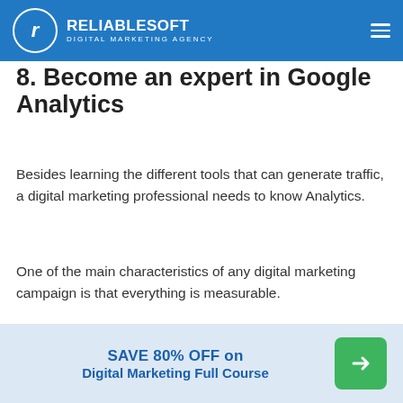RELIABLESOFT DIGITAL MARKETING AGENCY
8. Become an expert in Google Analytics
Besides learning the different tools that can generate traffic, a digital marketing professional needs to know Analytics.
One of the main characteristics of any digital marketing campaign is that everything is measurable.
You know how many people viewed your campaigns, how many people clicked on your ads,
SAVE 80% OFF on Digital Marketing Full Course